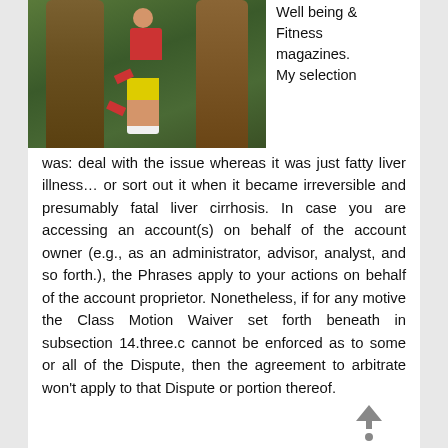[Figure (photo): A woman in a red top and yellow shorts standing between two large trees in a lush green forest.]
Well being & Fitness magazines. My selection was: deal with the issue whereas it was just fatty liver illness… or sort out it when it became irreversible and presumably fatal liver cirrhosis. In case you are accessing an account(s) on behalf of the account owner (e.g., as an administrator, advisor, analyst, and so forth.), the Phrases apply to your actions on behalf of the account proprietor. Nonetheless, if for any motive the Class Motion Waiver set forth beneath in subsection 14.three.c cannot be enforced as to some or all of the Dispute, then the agreement to arbitrate won't apply to that Dispute or portion thereof.
The Providers are commercial computer software